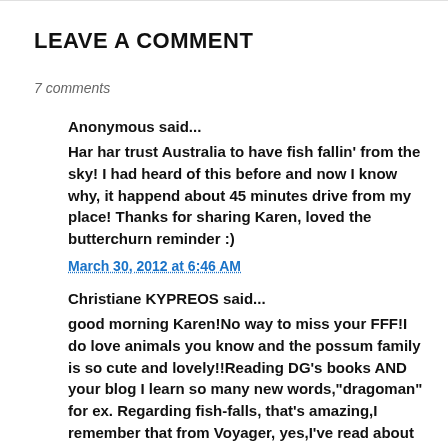LEAVE A COMMENT
7 comments
Anonymous said...
Har har trust Australia to have fish fallin' from the sky! I had heard of this before and now I know why, it happend about 45 minutes drive from my place! Thanks for sharing Karen, loved the butterchurn reminder :)
March 30, 2012 at 6:46 AM
Christiane KYPREOS said...
good morning Karen!No way to miss your FFF!I do love animals you know and the possum family is so cute and lovely!!Reading DG's books AND your blog I learn so many new words,"dragoman" for ex. Regarding fish-falls, that's amazing,I remember that from Voyager, yes,I've read about this meteorological phenomen before.The